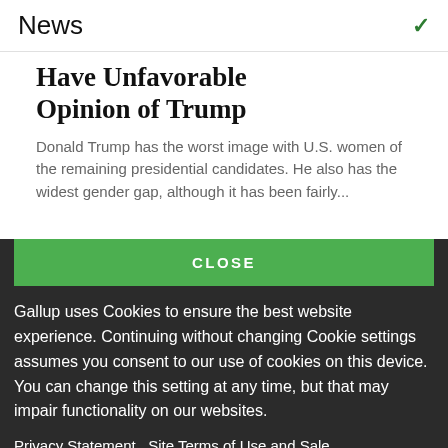News
Have Unfavorable Opinion of Trump
Donald Trump has the worst image with U.S. women of the remaining presidential candidates. He also has the widest gender gap, although it has been fairly...
CLOSE
Gallup uses Cookies to ensure the best website experience. Continuing without changing Cookie settings assumes you consent to our use of cookies on this device. You can change this setting at any time, but that may impair functionality on our websites.
Privacy Statement   Site Terms of Use and Sale
Product Terms of Use   Adjust your cookie settings.